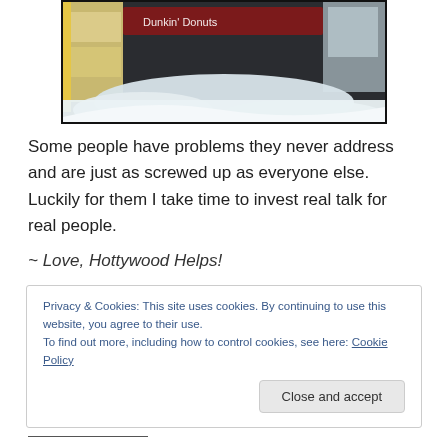[Figure (photo): Outdoor photo showing a snowy street scene with a building storefront and a Dunkin Donuts sign visible, large piles of snow on the ground.]
Some people have problems they never address and are just as screwed up as everyone else.  Luckily for them I take time to invest real talk for real people.
~ Love, Hottywood Helps!
Privacy & Cookies: This site uses cookies. By continuing to use this website, you agree to their use.
To find out more, including how to control cookies, see here: Cookie Policy
Close and accept